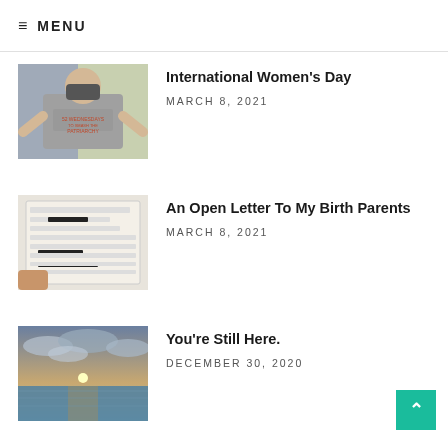≡ MENU
[Figure (photo): Person wearing a grey t-shirt with text and a patterned face mask, standing with hands on hips]
International Women's Day
MARCH 8, 2021
[Figure (photo): Redacted birth certificate document held in hand]
An Open Letter To My Birth Parents
MARCH 8, 2021
[Figure (photo): Sunset over ocean with sun breaking through clouds]
You're Still Here.
DECEMBER 30, 2020